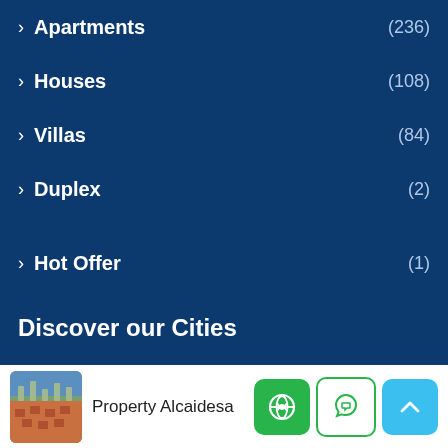Apartments (236)
Houses (108)
Villas (84)
Duplex (2)
Hot Offer (1)
Discover our Cities
Sotogrande (402)
Alcaidesa (36)
Property Alcaidesa